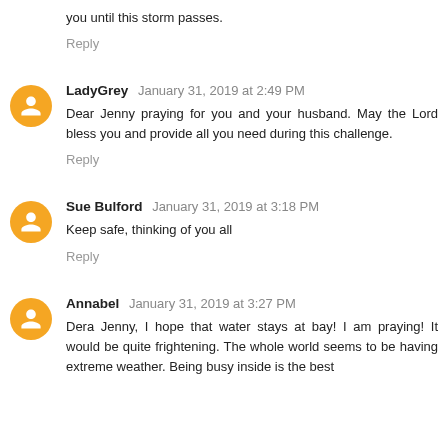you until this storm passes.
Reply
LadyGrey January 31, 2019 at 2:49 PM
Dear Jenny praying for you and your husband. May the Lord bless you and provide all you need during this challenge.
Reply
Sue Bulford January 31, 2019 at 3:18 PM
Keep safe, thinking of you all
Reply
Annabel January 31, 2019 at 3:27 PM
Dera Jenny, I hope that water stays at bay! I am praying! It would be quite frightening. The whole world seems to be having extreme weather. Being busy inside is the best